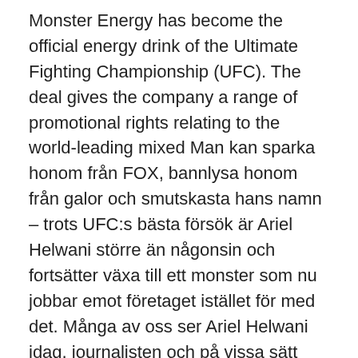Monster Energy has become the official energy drink of the Ultimate Fighting Championship (UFC). The deal gives the company a range of promotional rights relating to the world-leading mixed Man kan sparka honom från FOX, bannlysa honom från galor och smutskasta hans namn – trots UFC:s bästa försök är Ariel Helwani större än någonsin och fortsätter växa till ett monster som nu jobbar emot företaget istället för med det. Många av oss ser Ariel Helwani idag, journalisten och på vissa sätt symbolen han blivit, utan att förstå vad han gjort och allt han gått 2014-03-09 · LONDON. UFC-stjärnan Alexander "The Mauler" Gustafsson behövde bara drygt sex minuter för att knocka Jimi Manuwa i London. Nu har det svenska hoppet säkrat en ny titelchans mot den lätta tungviktsmästaren Jon Jones